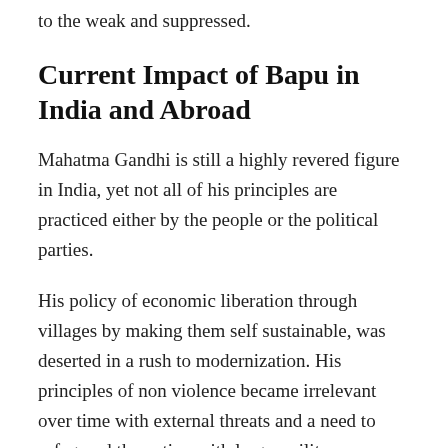to the weak and suppressed.
Current Impact of Bapu in India and Abroad
Mahatma Gandhi is still a highly revered figure in India, yet not all of his principles are practiced either by the people or the political parties.
His policy of economic liberation through villages by making them self sustainable, was deserted in a rush to modernization. His principles of non violence became irrelevant over time with external threats and a need to safeguard the nation with larger military power.
Though, time to time his views on communal